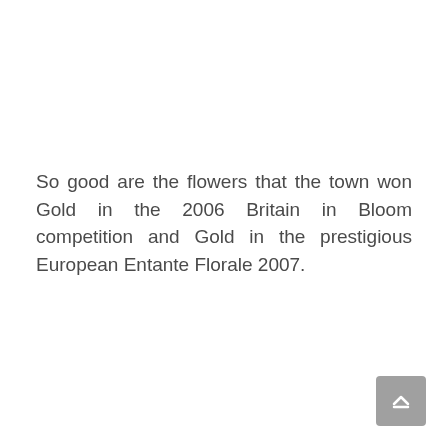So good are the flowers that the town won Gold in the 2006 Britain in Bloom competition and Gold in the prestigious European Entante Florale 2007.